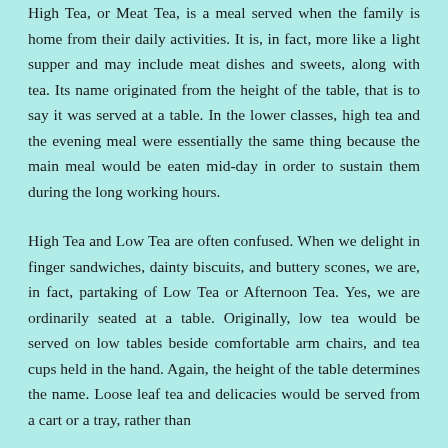High Tea, or Meat Tea, is a meal served when the family is home from their daily activities. It is, in fact, more like a light supper and may include meat dishes and sweets, along with tea. Its name originated from the height of the table, that is to say it was served at a table. In the lower classes, high tea and the evening meal were essentially the same thing because the main meal would be eaten mid-day in order to sustain them during the long working hours.
High Tea and Low Tea are often confused. When we delight in finger sandwiches, dainty biscuits, and buttery scones, we are, in fact, partaking of Low Tea or Afternoon Tea. Yes, we are ordinarily seated at a table. Originally, low tea would be served on low tables beside comfortable arm chairs, and tea cups held in the hand. Again, the height of the table determines the name. Loose leaf tea and delicacies would be served from a cart or a tray, rather than